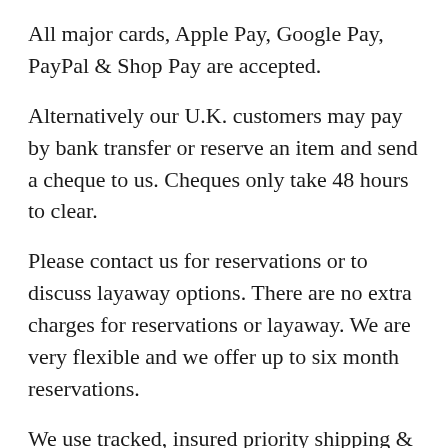All major cards, Apple Pay, Google Pay, PayPal & Shop Pay are accepted.
Alternatively our U.K. customers may pay by bank transfer or reserve an item and send a cheque to us. Cheques only take 48 hours to clear.
Please contact us for reservations or to discuss layaway options. There are no extra charges for reservations or layaway. We are very flexible and we offer up to six month reservations.
We use tracked, insured priority shipping & have supplied fine collectibles to many hundreds of delighted customers all over the world.
If you need any advice please feel free to contact us: